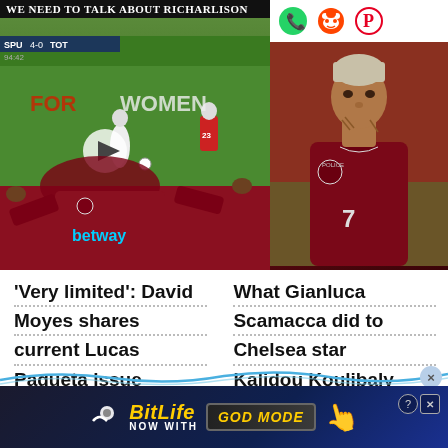[Figure (screenshot): Video thumbnail showing a football match with 'We Need To Talk About Richarlison' title bar and West Ham player in betway shirt]
[Figure (photo): West Ham player with tattoos on neck wearing maroon West Ham United jersey with number 7]
'Very limited': David Moyes shares current Lucas Paqueta issue
What Gianluca Scamacca did to Chelsea star Kalidou Koulibaly last time they faced off in Serie A will give West Ham
[Figure (screenshot): BitLife advertisement banner: NOW WITH GOD MODE]